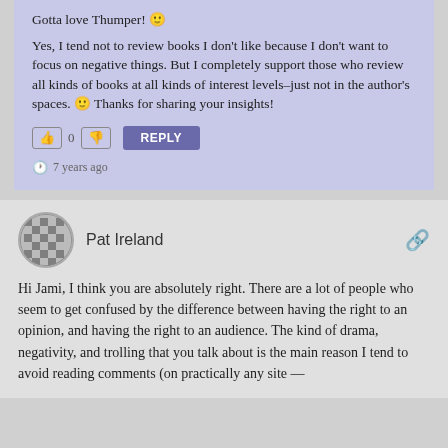Gotta love Thumper! 🙂
Yes, I tend not to review books I don't like because I don't want to focus on negative things. But I completely support those who review all kinds of books at all kinds of interest levels–just not in the author's spaces. 🙂 Thanks for sharing your insights!
7 years ago
Pat Ireland
Hi Jami, I think you are absolutely right. There are a lot of people who seem to get confused by the difference between having the right to an opinion, and having the right to an audience. The kind of drama, negativity, and trolling that you talk about is the main reason I tend to avoid reading comments (on practically any site —